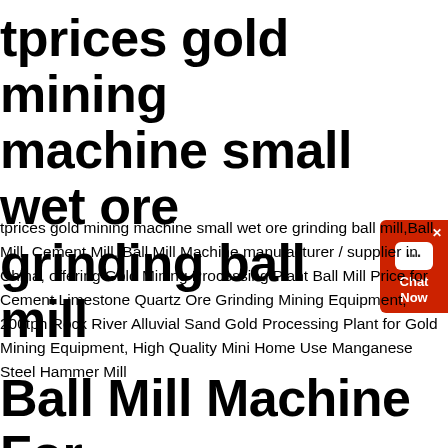tprices gold mining machine small wet ore grinding ball mill
[Figure (other): Red chat widget button with white speech bubble icon and 'Chat Now' text]
tprices gold mining machine small wet ore grinding ball mill,Ball Mill, Cement Mill, Ball Mill Machine manufacturer / supplier in China, offering Gold Mining Processing Plant Ball Mill Price for Cement Limestone Quartz Ore Grinding Mining Equipment, 200tph Rock River Alluvial Sand Gold Processing Plant for Gold Mining Equipment, High Quality Mini Home Use Manganese Steel Hammer Mill
Ball Mill Machine For Sale FTM Machinery